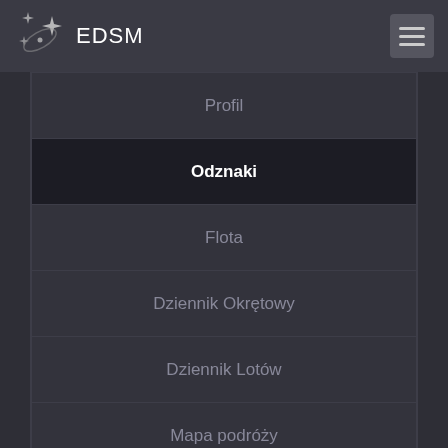EDSM
Profil
Odznaki
Flota
Dziennik Okrętowy
Dziennik Lotów
Mapa podróży